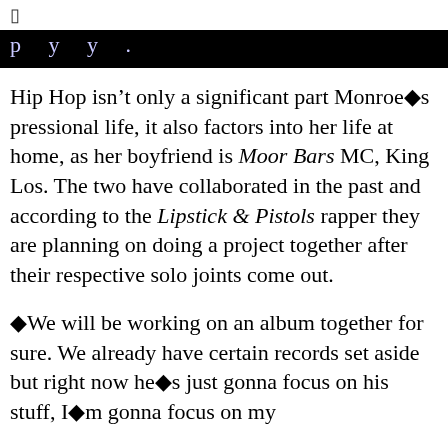▯
p    y    y    .
Hip Hop isn't only a significant part Monroe�s pressional life, it also factors into her life at home, as her boyfriend is Moor Bars MC, King Los. The two have collaborated in the past and according to the Lipstick & Pistols rapper they are planning on doing a project together after their respective solo joints come out.
�We will be working on an album together for sure. We already have certain records set aside but right now he�s just gonna focus on his stuff, I�m gonna focus on my